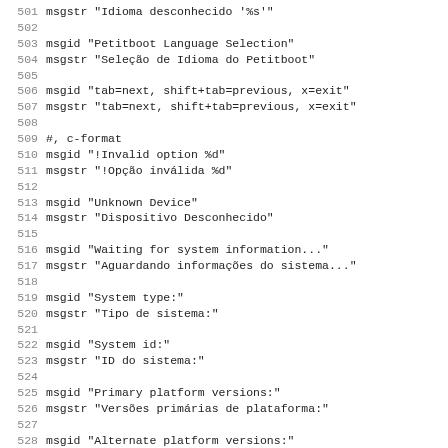501 msgstr "Idioma desconhecido '%s'"
502 
503 msgid "Petitboot Language Selection"
504 msgstr "Seleção de Idioma do Petitboot"
505 
506 msgid "tab=next, shift+tab=previous, x=exit"
507 msgstr "tab=next, shift+tab=previous, x=exit"
508 
509 #, c-format
510 msgid "!Invalid option %d"
511 msgstr "!Opção inválida %d"
512 
513 msgid "Unknown Device"
514 msgstr "Dispositivo Desconhecido"
515 
516 msgid "Waiting for system information..."
517 msgstr "Aguardando informações do sistema..."
518 
519 msgid "System type:"
520 msgstr "Tipo de sistema:"
521 
522 msgid "System id:"
523 msgstr "ID do sistema:"
524 
525 msgid "Primary platform versions:"
526 msgstr "Versões primárias de plataforma:"
527 
528 msgid "Alternate platform versions:"
529 msgstr "Versões alternativas de plataforma:"
530 
531 msgid "BMC current side:"
532 msgstr "Lado atual de BMC:"
533 ...